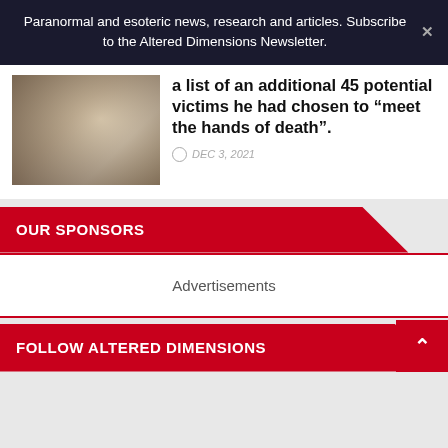Paranormal and esoteric news, research and articles. Subscribe to the Altered Dimensions Newsletter.
a list of an additional 45 potential victims he had chosen to “meet the hands of death”.
DEC 3, 2021
OUR SPONSORS
Advertisements
FOLLOW ALTERED DIMENSIONS